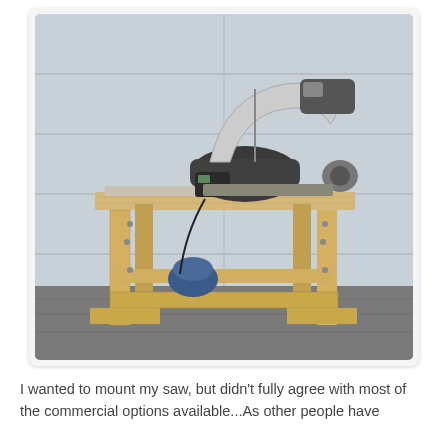[Figure (photo): A scroll saw mounted on a homemade wooden stand/workbench made from light-colored pine lumber. The saw sits on top of the bench surface, which has a padded mat beneath it. The wooden stand has four legs with cross-bracing at the bottom shelf level. The setup is photographed outdoors in a driveway in front of a white garage door.]
I wanted to mount my saw, but didn't fully agree with most of the commercial options available...As other people have